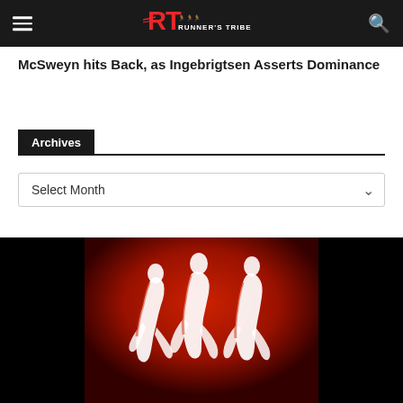Runner's Tribe
McSweyn hits Back, as Ingebrigtsen Asserts Dominance
Archives
Select Month
[Figure (logo): Runner's Tribe logo and runners silhouette image on red/black background]